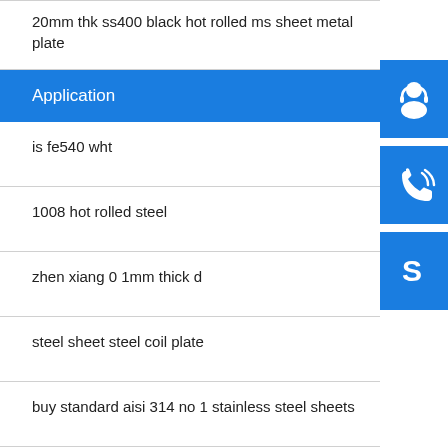20mm thk ss400 black hot rolled ms sheet metal plate
Application
is fe540 wht
1008 hot rolled steel
zhen xiang 0 1mm thick d
steel sheet steel coil plate
buy standard aisi 314 no 1 stainless steel sheets
hot dip 24 gauge galvanized steel coil from hebei
[Figure (infographic): Three blue sidebar buttons: customer service (headset icon), phone (call icon), Skype (S logo icon)]